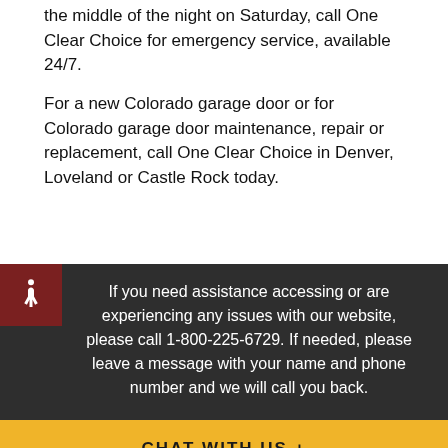the middle of the night on Saturday, call One Clear Choice for emergency service, available 24/7.
For a new Colorado garage door or for Colorado garage door maintenance, repair or replacement, call One Clear Choice in Denver, Loveland or Castle Rock today.
If you need assistance accessing or are experiencing any issues with our website, please call 1-800-225-6729. If needed, please leave a message with your name and phone number and we will call you back.
CHAT WITH US +